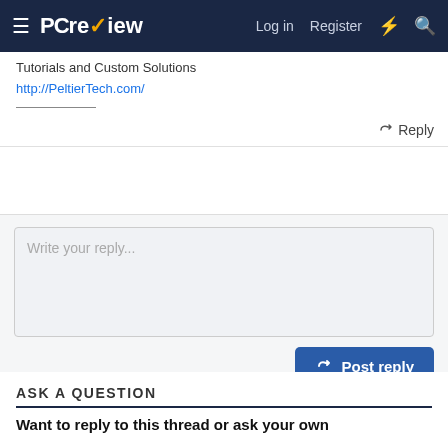PCreview — Log in | Register
Tutorials and Custom Solutions
http://PeltierTech.com/
Reply
Write your reply...
Post reply
ASK A QUESTION
Want to reply to this thread or ask your own